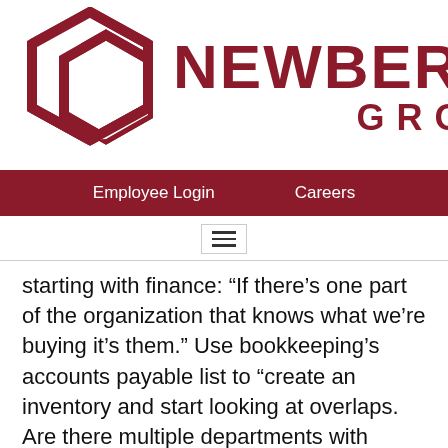[Figure (logo): Newberry Group logo: two interlocking hexagons in dark red with NEWBERRY GROUP text in dark red]
Employee Login    Careers
starting with finance: “If there’s one part of the organization that knows what we’re buying it’s them.” Use bookkeeping’s accounts payable list to “create an inventory and start looking at overlaps. Are there multiple departments with licenses to the same tool?” That’s the first software to go. Then look for competing tools that solve the same problem — maybe one department uses Zoom